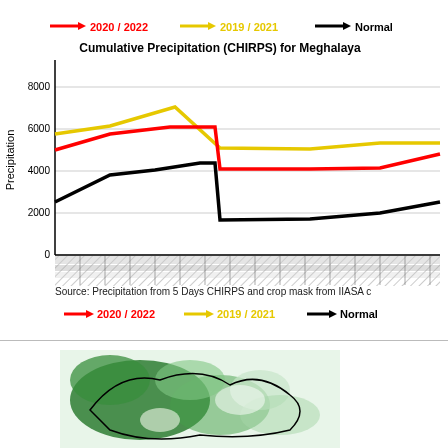[Figure (line-chart): Cumulative precipitation line chart for Meghalaya showing three series: 2020/2022 (red), 2019/2021 (yellow), and Normal (black). Y-axis ranges from 0 to 8000. Lines show seasonal precipitation patterns with a notable drop and recovery in the Normal series mid-period.]
Source: Precipitation from 5 Days CHIRPS and crop mask from IIASA c
[Figure (map): Partial view of a green vegetation/crop map of Meghalaya region.]